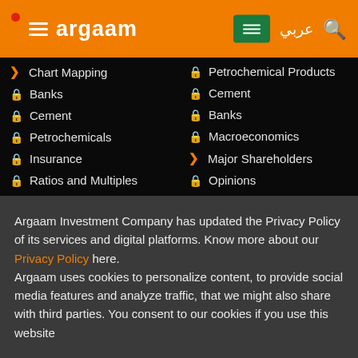argaam
Chart Mapping
Petrochemical Products
Banks
Cement
Cement
Banks
Petrochemicals
Macroeconomics
Insurance
Major Shareholders
Ratios and Multiples
Opinions
Argaam Investment Company has updated the Privacy Policy of its services and digital platforms. Know more about our Privacy Policy here.
Argaam uses cookies to personalize content, to provide social media features and analyze traffic, that we might also share with third parties. You consent to our cookies if you use this website
Agree